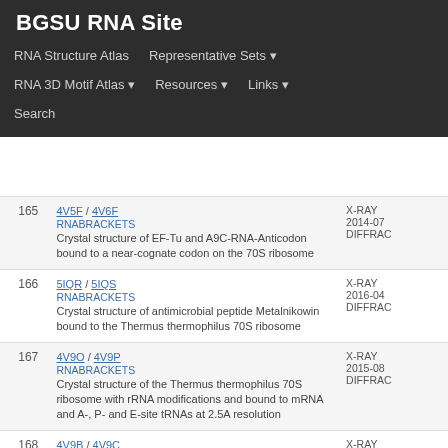BGSU RNA Site
RNA Structure Atlas | Representative Sets | RNA 3D Motif Atlas | Resources | Links | Search
| # | PDB / Description | Method/Year |
| --- | --- | --- |
| 165 | 4V5F / 4V6F
RNABRACKETS
Crystal structure of EF-Tu and A9C-RNA-Anticodon bound to a near-cognate codon on the 70S ribosome | X-RAY
2014-07
DIFFRAC |
| 166 | 5IQR / 5IQS
RNABRACKETS
Crystal structure of antimicrobial peptide Metalnikowin bound to the Thermus thermophilus 70S ribosome | X-RAY
2016-04
DIFFRAC |
| 167 | 4V9O / 4V9P
RNABRACKETS
Crystal structure of the Thermus thermophilus 70S ribosome with rRNA modifications and bound to mRNA and A-, P- and E-site tRNAs at 2.5A resolution | X-RAY
2015-08
DIFFRAC |
| 168 | 4V9B / 4V9C
RNABRACKETS
Cryo EM average 70S structure of the P. falciparum HigB DeltaH92 toxin bound to | X-RAY
2015-10
 |